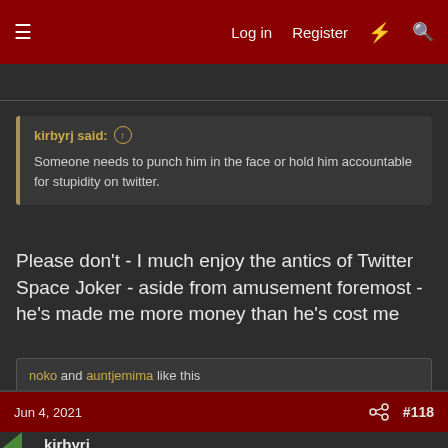Log in  Register  #  Search
kirbyrj said: ↑
Someone needs to punch him in the face or hold him accountable for stupidity on twitter.
Please don't - I much enjoy the antics of Twitter Space Joker - aside from amusement foremost - he's made me more money than he's cost me
noko and auntjemima like this
Jun 4, 2021  #118
kirbyrj
Fully [H]
HockeyJon said: ↑